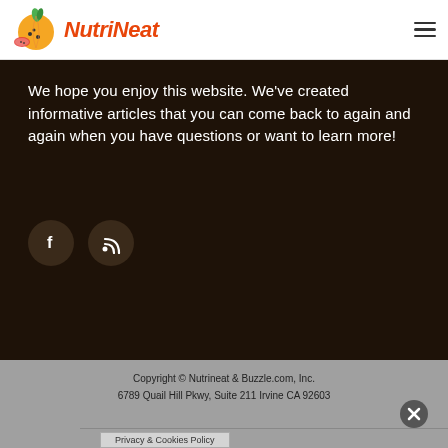NutriNeat
We hope you enjoy this website. We've created informative articles that you can come back to again and again when you have questions or want to learn more!
[Figure (illustration): Facebook icon circle and RSS feed icon circle, dark brown background circles with white symbols]
Copyright © Nutrineat & Buzzle.com, Inc.
6789 Quail Hill Pkwy, Suite 211 Irvine CA 92603
Privacy & Cookies Policy